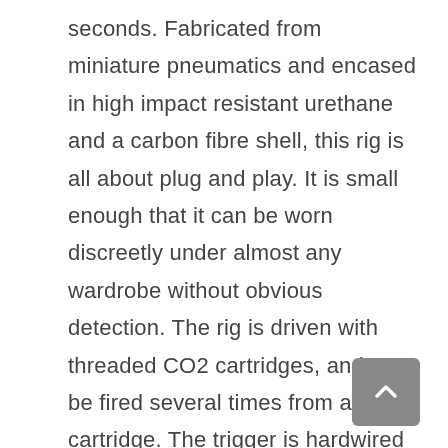seconds. Fabricated from miniature pneumatics and encased in high impact resistant urethane and a carbon fibre shell, this rig is all about plug and play. It is small enough that it can be worn discreetly under almost any wardrobe without obvious detection. The rig is driven with threaded CO2 cartridges, and can be fired several times from a single cartridge. The trigger is hardwired and can put the power of firing right in the performers hands, but is also long enough to be fired by another operator. . Knife or razor wounds, arterial blood spray, can be used in tandem with a bullet hit, head or other body wounds with flowing blood.